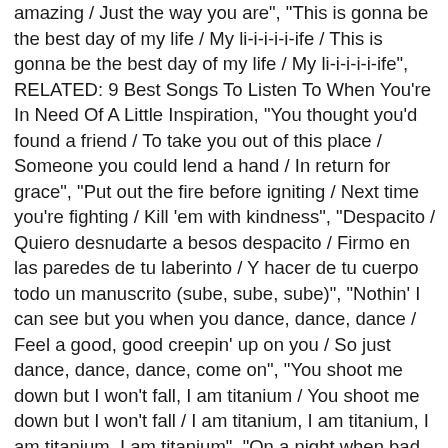amazing / Just the way you are", "This is gonna be the best day of my life / My li-i-i-i-i-ife / This is gonna be the best day of my life / My li-i-i-i-i-ife", RELATED: 9 Best Songs To Listen To When You're In Need Of A Little Inspiration, "You thought you'd found a friend / To take you out of this place / Someone you could lend a hand / In return for grace", "Put out the fire before igniting / Next time you're fighting / Kill 'em with kindness", "Despacito / Quiero desnudarte a besos despacito / Firmo en las paredes de tu laberinto / Y hacer de tu cuerpo todo un manuscrito (sube, sube, sube)", "Nothin' I can see but you when you dance, dance, dance / Feel a good, good creepin' up on you / So just dance, dance, dance, come on", "You shoot me down but I won't fall, I am titanium / You shoot me down but I won't fall / I am titanium, I am titanium, I am titanium, I am titanium", "On a night when bad dreams become a screamer / When they're messin' with a dreamer / I can laugh it in the face", "Huh, because I'm happy / Clap along if you feel like a room without a roof / Because I'm happy / Clap along if you feel like happiness is the truth", "So show me family / (Hey) all the blood that I will bleed / (Ho) I don't know where I belong / (Hey) I